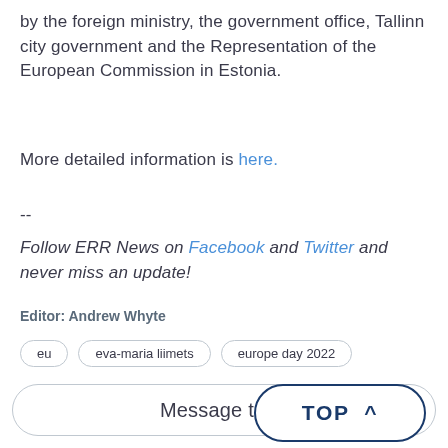by the foreign ministry, the government office, Tallinn city government and the Representation of the European Commission in Estonia.
More detailed information is here.
--
Follow ERR News on Facebook and Twitter and never miss an update!
Editor: Andrew Whyte
eu   eva-maria liimets   europe day 2022
Message to th
TOP ^